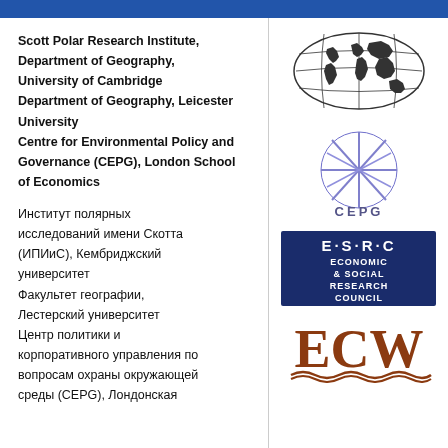Scott Polar Research Institute, Department of Geography, University of Cambridge
Department of Geography, Leicester University
Centre for Environmental Policy and Governance (CEPG), London School of Economics
Институт полярных исследований имени Скотта (ИПИиС), Кембриджский университет
Факультет географии, Лестерский университет
Центр политики и корпоративного управления по вопросам охраны окружающей среды (CEPG), Лондонская
[Figure (logo): Globe/world map logo in black outline with grid lines, showing land masses]
[Figure (logo): CEPG logo: purple/blue star-like geometric shape with lines crossing, text CEPG below]
[Figure (logo): ESRC logo: dark navy blue rectangle with E·S·R·C text and Economic & Social Research Council]
[Figure (logo): ECW logo: large brown/rust colored ECW letters with wavy lines beneath]